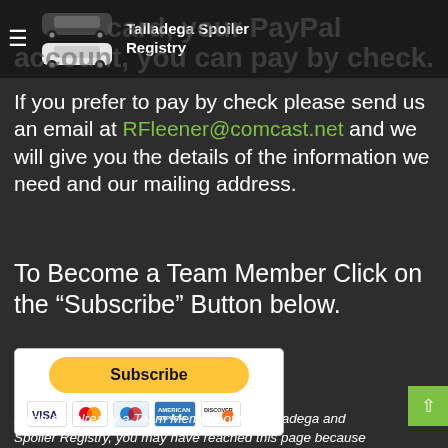Talladega Spoiler Registry
If you prefer to pay by check please send us an email at RFleener@comcast.net and we will give you the details of the information we need and our mailing address.
To Become a Team Member Click on the “Subscribe” Button below.
[Figure (other): PayPal Subscribe button with credit card icons (Visa, Mastercard, Amex, Discover)]
If you are already a Team Member of the Talladega and Spoiler Registry, you may have reached this page because